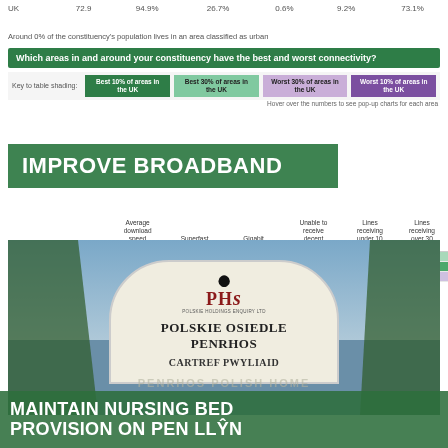|  |  |  |  |  |  |  |
| --- | --- | --- | --- | --- | --- | --- |
| UK | 72.9 | 94.9% | 26.7% | 0.6% | 9.2% | 73.1% |
Around 0% of the constituency's population lives in an area classified as urban
Which areas in and around your constituency have the best and worst connectivity?
Key to table shading: Best 10% of areas in the UK | Best 30% of areas in the UK | Worst 30% of areas in the UK | Worst 10% of areas in the UK
Hover over the numbers to see pop-up charts for each area
| Area name | Average download speed (Mbps) | Superfast availability | Gigabit availability | Unable to receive decent broadband | Lines receiving under 10 Mbps | Lines receiving over 30 Mbps |
| --- | --- | --- | --- | --- | --- | --- |
| Aberdaron |  |  |  |  |  |  |
| Bala & Mawddwy | 617 | 100.0% | 54.5% | 1.9% | 22.6% | 22.9% |
| Barmouth & Dolgellau | 424 | 83.6% | 5.7% | 9.2% | 14.7% | 25.9% |
IMPROVE BROADBAND
[Figure (photo): Outdoor sign reading POLSKIE OSIEDLE PENRHOS / CARTREF PWYLIAID with PHS logo, surrounded by trees and blue sky]
MAINTAIN NURSING BED PROVISION ON PEN LLŶN